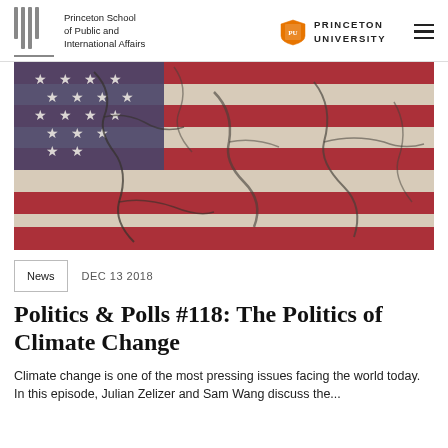Princeton School of Public and International Affairs | Princeton University
[Figure (photo): American flag with cracked, dry earth texture overlaid on it, suggesting drought and climate stress]
News  DEC 13 2018
Politics & Polls #118: The Politics of Climate Change
Climate change is one of the most pressing issues facing the world today. In this episode, Julian Zelizer and Sam Wang discuss the...